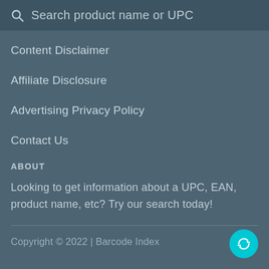Search product name or UPC
Content Disclaimer
Affiliate Disclosure
Advertising Privacy Policy
Contact Us
ABOUT
Looking to get information about a UPC, EAN, product name, etc? Try our search today!
Copyright © 2022 | Barcode Index